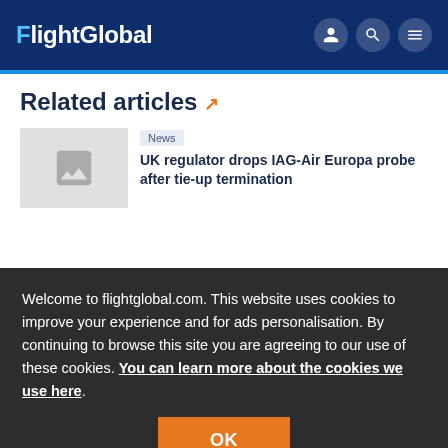FlightGlobal
Related articles
News
UK regulator drops IAG-Air Europa probe after tie-up termination
Welcome to flightglobal.com. This website uses cookies to improve your experience and for ads personalisation. By continuing to browse this site you are agreeing to our use of these cookies. You can learn more about the cookies we use here.
News
EASA backs postponement of distress-